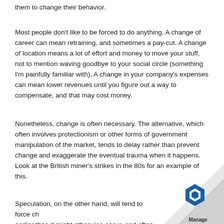them to change their behavior.
Most people don't like to be forced to do anything. A change of career can mean retraining, and sometimes a pay-cut. A change of location means a lot of effort and money to move your stuff, not to mention waving goodbye to your social circle (something I'm painfully familiar with). A change in your company's expenses can mean lower revenues until you figure out a way to compensate, and that may cost money.
Nonetheless, change is often necessary. The alternative, which often involves protectionism or other forms of government manipulation of the market, tends to delay rather than prevent change and exaggerate the eventual trauma when it happens. Look at the British miner's strikes in the 80s for an example of this.
Speculation, on the other hand, will tend to force ch earlier than it might otherwise occur, and often m